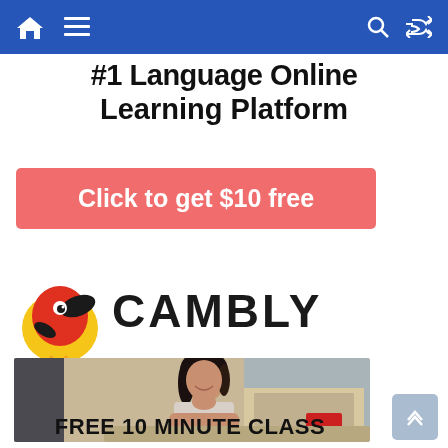Navigation bar with home, menu, search, and shuffle icons
#1 Language Online Learning Platform
[Figure (other): Red coral/salmon colored call-to-action button banner reading 'Click to get $10 free']
[Figure (logo): Cambly logo with cartoon red bird on yellow circle and CAMBLY wordmark in black]
[Figure (photo): Photo of a smiling young woman with dark hair resting her chin on her hand, sitting at a desk with a laptop and red mug]
FREE 10 MINUTE CLASS